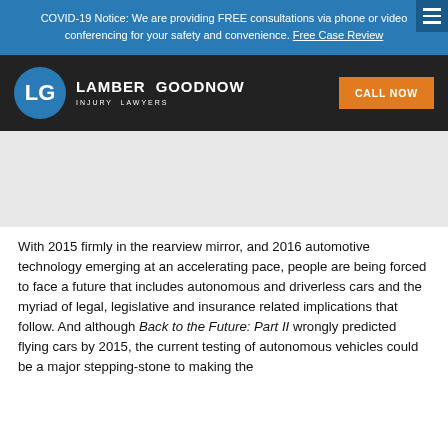COVID-19 Notice: We are providing FREE consultations via phone or video conferencing for your safety and convenience. Free Case Review
[Figure (logo): Lamber Goodnow Injury Lawyers logo with LG monogram icon and CALL NOW button]
With 2015 firmly in the rearview mirror, and 2016 automotive technology emerging at an accelerating pace, people are being forced to face a future that includes autonomous and driverless cars and the myriad of legal, legislative and insurance related implications that follow. And although Back to the Future: Part II wrongly predicted flying cars by 2015, the current testing of autonomous vehicles could be a major stepping-stone to making the